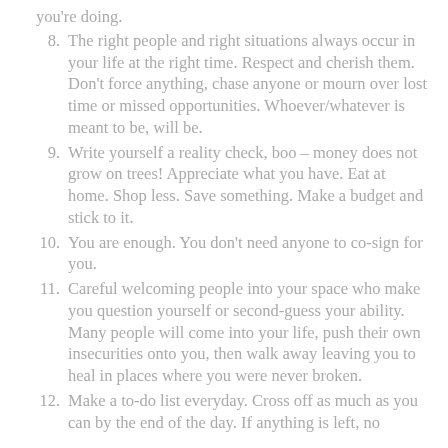(continuation) you're doing.
8. The right people and right situations always occur in your life at the right time. Respect and cherish them. Don't force anything, chase anyone or mourn over lost time or missed opportunities. Whoever/whatever is meant to be, will be.
9. Write yourself a reality check, boo – money does not grow on trees! Appreciate what you have. Eat at home. Shop less. Save something. Make a budget and stick to it.
10. You are enough. You don't need anyone to co-sign for you.
11. Careful welcoming people into your space who make you question yourself or second-guess your ability. Many people will come into your life, push their own insecurities onto you, then walk away leaving you to heal in places where you were never broken.
12. Make a to-do list everyday. Cross off as much as you can by the end of the day. If anything is left, no...